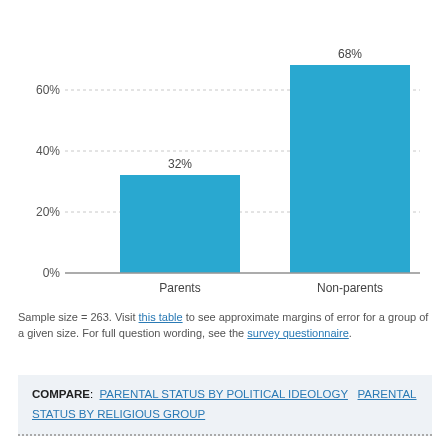[Figure (bar-chart): ]
Sample size = 263. Visit this table to see approximate margins of error for a group of a given size. For full question wording, see the survey questionnaire.
COMPARE: PARENTAL STATUS BY POLITICAL IDEOLOGY   PARENTAL STATUS BY RELIGIOUS GROUP